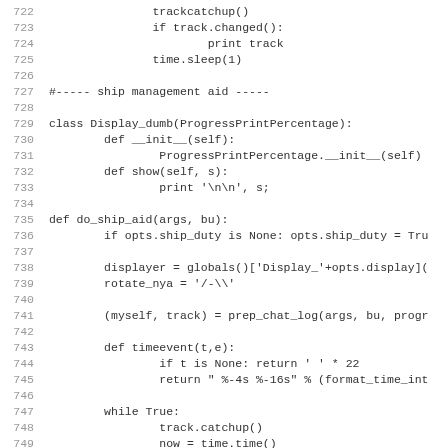Source code lines 722-754, Python code including class Display_dumb and def do_ship_aid functions